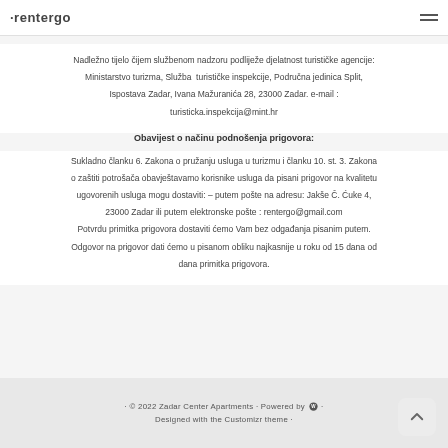rentergo
Nadležno tijelo čijem službenom nadzoru podliježe djelatnost turističke agencije: Ministarstvo turizma, Služba turističke inspekcije, Područna jedinica Split, Ispostava Zadar, Ivana Mažuranića 28, 23000 Zadar. e-mail : turisticka.inspekcija@mint.hr
Obavijest o načinu podnošenja prigovora:
Sukladno članku 6. Zakona o pružanju usluga u turizmu i članku 10. st. 3. Zakona o zaštiti potrošača obavještavamo korisnike usluga da pisani prigovor na kvalitetu ugovorenih usluga mogu dostaviti: – putem pošte na adresu: Jakše Č. Ćuke 4, 23000 Zadar ili putem elektronske pošte : rentergo@gmail.com
Potvrdu primitka prigovora dostaviti ćemo Vam bez odgađanja pisanim putem. Odgovor na prigovor dati ćemo u pisanom obliku najkasnije u roku od 15 dana od dana primitka prigovora.
· © 2022 Zadar Center Apartments · Powered by [WP] · Designed with the Customizr theme ·